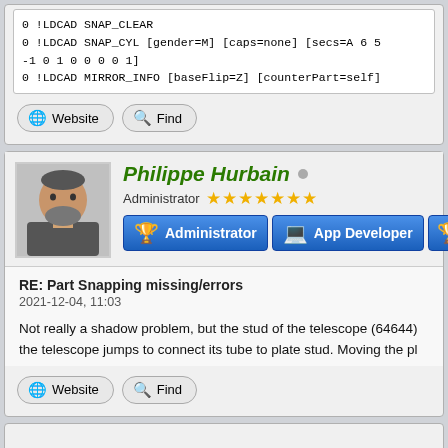0 !LDCAD SNAP_CLEAR
0 !LDCAD SNAP_CYL [gender=M] [caps=none] [secs=A 6 5
-1 0 1 0 0 0 0 1]
0 !LDCAD MIRROR_INFO [baseFlip=Z] [counterPart=self]
Website
Find
Philippe Hurbain  Administrator ★★★★★★★
Administrator  App Developer
RE: Part Snapping missing/errors
2021-12-04, 11:03
Not really a shadow problem, but the stud of the telescope (64644) the telescope jumps to connect its tube to plate stud. Moving the pl
Website
Find